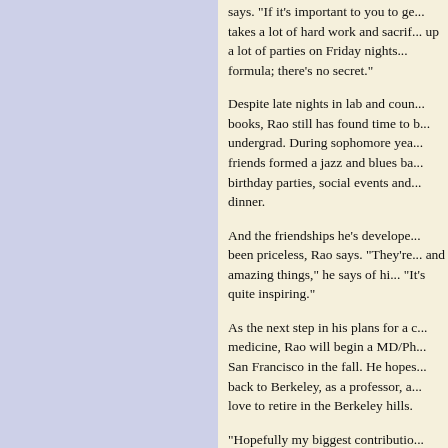says. "If it's important to you to ge... takes a lot of hard work and sacrif... up a lot of parties on Friday nights... formula; there's no secret."
Despite late nights in lab and coun... books, Rao still has found time to b... undergrad. During sophomore yea... friends formed a jazz and blues ba... birthday parties, social events and... dinner.
And the friendships he's develope... been priceless, Rao says. "They're... and amazing things," he says of hi... "It's quite inspiring."
As the next step in his plans for a c... medicine, Rao will begin a MD/Ph... San Francisco in the fall. He hopes... back to Berkeley, as a professor, a... love to retire in the Berkeley hills.
"Hopefully my biggest contributio... come," he said. "When people go... it always reflects back on their tra...